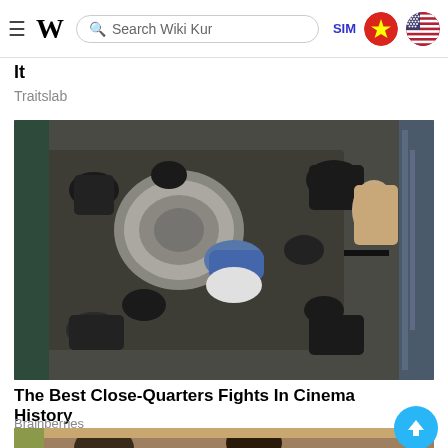≡ W  Search Wiki Kur  SIM 🇻🇳 🇺🇸
It
Traitslab
[Figure (photo): Top-down aerial view of a fight scene from a movie showing multiple men in black tactical gear surrounding a man in a blue shirt on the floor of what appears to be an elevator or small room, with a city skyline visible through a window.]
The Best Close-Quarters Fights In Cinema History
Brainberries
[Figure (photo): Partial view of a second article image showing two people, partially cut off at the bottom of the page.]